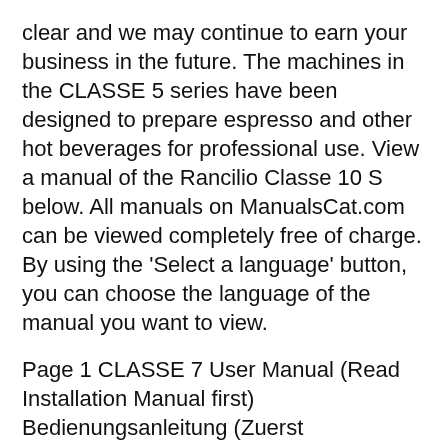clear and we may continue to earn your business in the future. The machines in the CLASSE 5 series have been designed to prepare espresso and other hot beverages for professional use. View a manual of the Rancilio Classe 10 S below. All manuals on ManualsCat.com can be viewed completely free of charge. By using the 'Select a language' button, you can choose the language of the manual you want to view.
Page 1 CLASSE 7 User Manual (Read Installation Manual first) Bedienungsanleitung (Zuerst Installationsanleitung lesen) Mode d'emploi (Lire d'abord les instructions